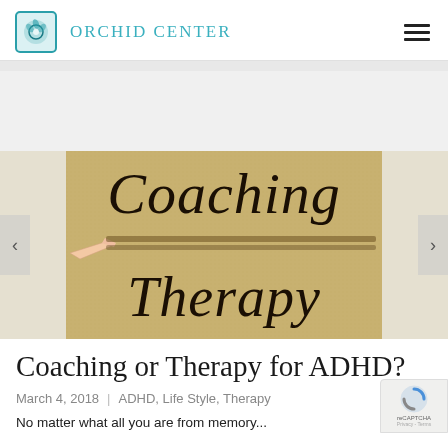Orchid Center
[Figure (photo): A doormat with cursive text reading 'Coaching Therapy' with a hand pointing at the text. The mat is tan/burlap colored with black cursive lettering.]
Coaching or Therapy for ADHD?
March 4, 2018  |  ADHD, Life Style, Therapy
No matter what all you are from memory...